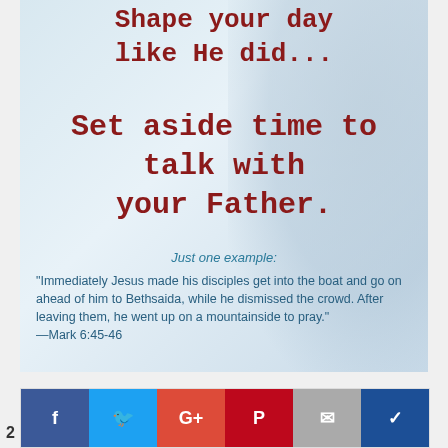Shape your day like He did...
Set aside time to talk with your Father.
Just one example:
"Immediately Jesus made his disciples get into the boat and go on ahead of him to Bethsaida, while he dismissed the crowd. After leaving them, he went up on a mountainside to pray." —Mark 6:45-46
[Figure (infographic): Social media sharing buttons: Facebook, Twitter, Google+, Pinterest, Email, and another blue button]
2